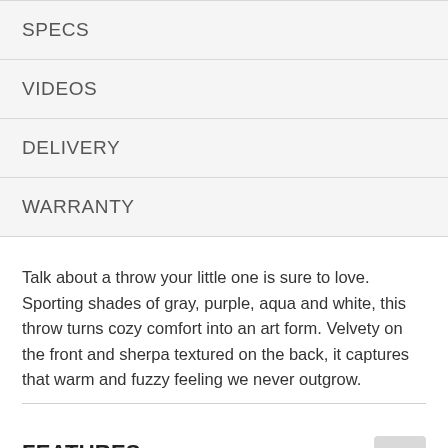SPECS
VIDEOS
DELIVERY
WARRANTY
Talk about a throw your little one is sure to love. Sporting shades of gray, purple, aqua and white, this throw turns cozy comfort into an art form. Velvety on the front and sherpa textured on the back, it captures that warm and fuzzy feeling we never outgrow.
FEATURES